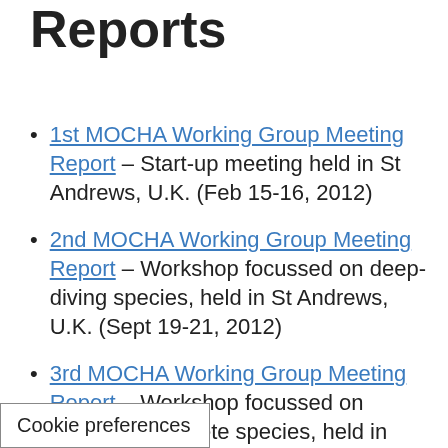Group Meeting Reports
1st MOCHA Working Group Meeting Report – Start-up meeting held in St Andrews, U.K. (Feb 15-16, 2012)
2nd MOCHA Working Group Meeting Report – Workshop focussed on deep-diving species, held in St Andrews, U.K. (Sept 19-21, 2012)
3rd MOCHA Working Group Meeting Report – Workshop focussed on “other” odontocete species, held in The Hague, The Netherlands (18-20 March 2013)
4th MOCHA Working Group Meeting Report – Workshop focussed on pilot [studies] held at Duke Marine Lab, [North Carolina] (4-6 Sept, 2013)
Cookie preferences